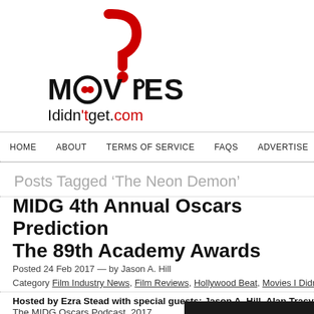[Figure (logo): MoviesIDidntGet.com logo with red question mark above stylized MOVIES text and 'Ididnt get.com' below]
HOME  ABOUT  TERMS OF SERVICE  FAQS  ADVERTISE  RE-PUBLIS
Posts Tagged ‘The Neon Demon’
MIDG 4th Annual Oscars Predictions The 89th Academy Awards
Posted 24 Feb 2017 — by Jason A. Hill
Category Film Industry News, Film Reviews, Hollywood Beat, Movies I Didn’t Get, Movies
Hosted by Ezra Stead with special guests: Jason A. Hill, Alan Tracy and
The MIDG Oscars Podcast, 2017 edition.
[Figure (photo): Dark image, partially visible at bottom right]